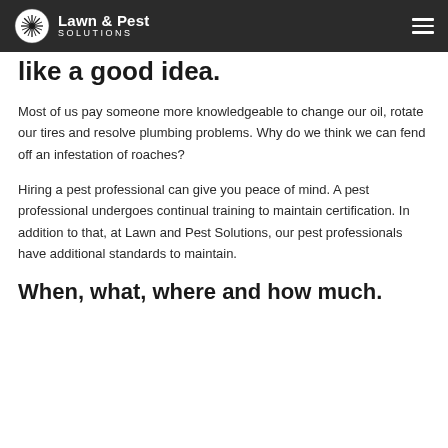Lawn & Pest SOLUTIONS
like a good idea.
Most of us pay someone more knowledgeable to change our oil, rotate our tires and resolve plumbing problems. Why do we think we can fend off an infestation of roaches?
Hiring a pest professional can give you peace of mind. A pest professional undergoes continual training to maintain certification. In addition to that, at Lawn and Pest Solutions, our pest professionals have additional standards to maintain.
When, what, where and how much.